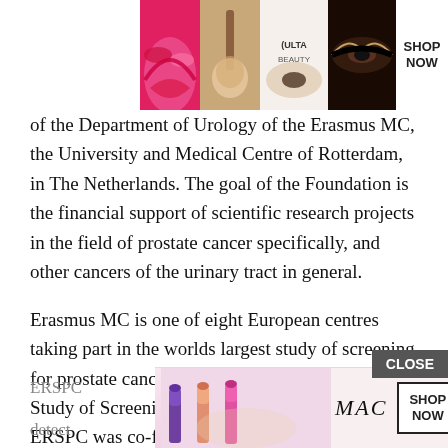[Figure (photo): Top advertisement banner for Ulta Beauty showing makeup/cosmetics images and SHOP NOW call to action]
of the Department of Urology of the Erasmus MC, the University and Medical Centre of Rotterdam, in The Netherlands. The goal of the Foundation is the financial support of scientific research projects in the field of prostate cancer specifically, and other cancers of the urinary tract in general.
Erasmus MC is one of eight European centres taking part in the worlds largest study of screening for prostate cancer, the European Randomized Study of Screening for Prostate Cancer,. The ERSPC was co-founded by Prof. Dr. F.H. Schröder, now emeritus professor at Erasmus and he is also co-founder of the Foundation. Under his leadershi
ERSPC
f early
detect
[Figure (photo): Bottom advertisement banner for MAC cosmetics showing lipsticks and SHOP NOW call to action]